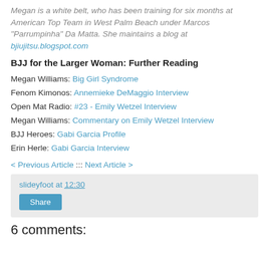Megan is a white belt, who has been training for six months at American Top Team in West Palm Beach under Marcos "Parrumpinha" Da Matta. She maintains a blog at bjiujitsu.blogspot.com
BJJ for the Larger Woman: Further Reading
Megan Williams: Big Girl Syndrome
Fenom Kimonos: Annemieke DeMaggio Interview
Open Mat Radio: #23 - Emily Wetzel Interview
Megan Williams: Commentary on Emily Wetzel Interview
BJJ Heroes: Gabi Garcia Profile
Erin Herle: Gabi Garcia Interview
< Previous Article ::: Next Article >
slideyfoot at 12:30
Share
6 comments: